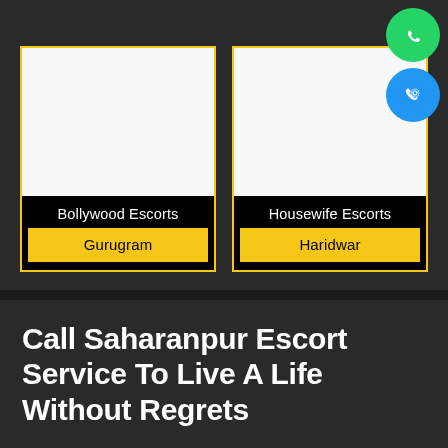[Figure (other): Two cards side by side: left card shows 'Bollywood Escorts' with yellow button 'Gurugram', right card shows 'Housewife Escorts' with yellow button 'Haridwar'. WhatsApp and phone icons in top right corner.]
Call Saharanpur Escort Service To Live A Life Without Regrets